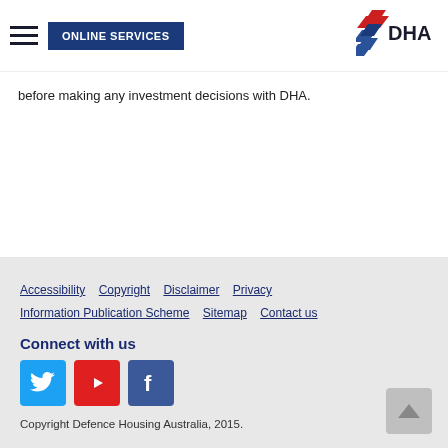ONLINE SERVICES | DHA logo
before making any investment decisions with DHA.
Accessibility  Copyright  Disclaimer  Privacy  Information Publication Scheme  Sitemap  Contact us

Connect with us

[Twitter] [YouTube] [Facebook]

Copyright Defence Housing Australia, 2015.